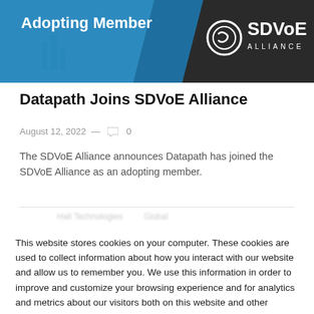[Figure (illustration): Banner image showing 'Adopting Member' text on a blue background with the SDVoE Alliance logo on the right side in dark gray/black]
Datapath Joins SDVoE Alliance
August 12, 2022 — 0
The SDVoE Alliance announces Datapath has joined the SDVoE Alliance as an adopting member.
This website stores cookies on your computer. These cookies are used to collect information about how you interact with our website and allow us to remember you. We use this information in order to improve and customize your browsing experience and for analytics and metrics about our visitors both on this website and other media. To find out more about the cookies we use, see our Privacy Policy.
Accept